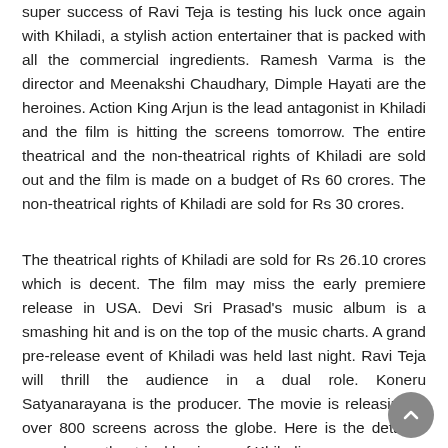super success of Ravi Teja is testing his luck once again with Khiladi, a stylish action entertainer that is packed with all the commercial ingredients. Ramesh Varma is the director and Meenakshi Chaudhary, Dimple Hayati are the heroines. Action King Arjun is the lead antagonist in Khiladi and the film is hitting the screens tomorrow. The entire theatrical and the non-theatrical rights of Khiladi are sold out and the film is made on a budget of Rs 60 crores. The non-theatrical rights of Khiladi are sold for Rs 30 crores.
The theatrical rights of Khiladi are sold for Rs 26.10 crores which is decent. The film may miss the early premiere release in USA. Devi Sri Prasad's music album is a smashing hit and is on the top of the music charts. A grand pre-release event of Khiladi was held last night. Ravi Teja will thrill the audience in a dual role. Koneru Satyanarayana is the producer. The movie is releasing in over 800 screens across the globe. Here is the detailed pre-release theatrical business of Khiladi: